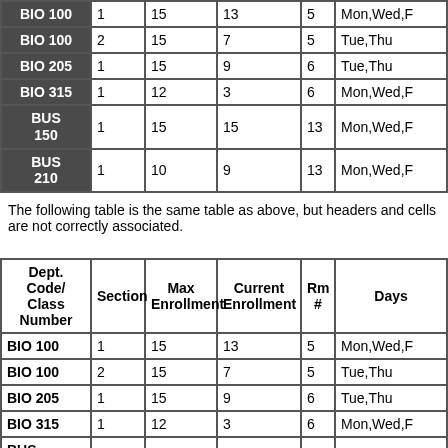| Dept. Code/Class Number | Section | Max Enrollment | Current Enrollment | Rm # | Days |
| --- | --- | --- | --- | --- | --- |
| BIO 100 | 1 | 15 | 13 | 5 | Mon,Wed,F |
| BIO 100 | 2 | 15 | 7 | 5 | Tue,Thu |
| BIO 205 | 1 | 15 | 9 | 6 | Tue,Thu |
| BIO 315 | 1 | 12 | 3 | 6 | Mon,Wed,F |
| BUS 150 | 1 | 15 | 15 | 13 | Mon,Wed,F |
| BUS 210 | 1 | 10 | 9 | 13 | Mon,Wed,F |
The following table is the same table as above, but headers and cells are not correctly associated.
| Dept. Code/Class Number | Section | Max Enrollment | Current Enrollment | Rm # | Days |
| --- | --- | --- | --- | --- | --- |
| BIO 100 | 1 | 15 | 13 | 5 | Mon,Wed,F |
| BIO 100 | 2 | 15 | 7 | 5 | Tue,Thu |
| BIO 205 | 1 | 15 | 9 | 6 | Tue,Thu |
| BIO 315 | 1 | 12 | 3 | 6 | Mon,Wed,F |
| BUS | 1 |  |  |  |  |